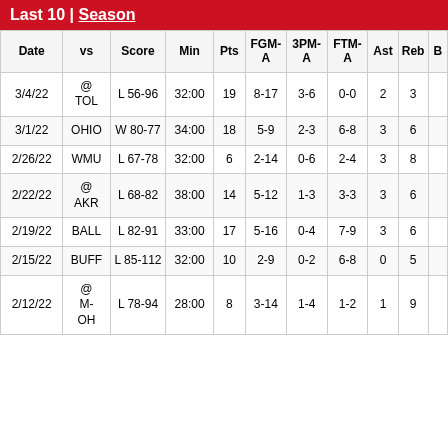Last 10 | Season
| Date | vs | Score | Min | Pts | FGM-A | 3PM-A | FTM-A | Ast | Reb | B |
| --- | --- | --- | --- | --- | --- | --- | --- | --- | --- | --- |
| 3/4/22 | @ TOL | L 56-96 | 32:00 | 19 | 8-17 | 3-6 | 0-0 | 2 | 3 |  |
| 3/1/22 | OHIO | W 80-77 | 34:00 | 18 | 5-9 | 2-3 | 6-8 | 3 | 6 |  |
| 2/26/22 | WMU | L 67-78 | 32:00 | 6 | 2-14 | 0-6 | 2-4 | 3 | 8 |  |
| 2/22/22 | @ AKR | L 68-82 | 38:00 | 14 | 5-12 | 1-3 | 3-3 | 3 | 6 |  |
| 2/19/22 | BALL | L 82-91 | 33:00 | 17 | 5-16 | 0-4 | 7-9 | 3 | 6 |  |
| 2/15/22 | BUFF | L 85-112 | 32:00 | 10 | 2-9 | 0-2 | 6-8 | 0 | 5 |  |
| 2/12/22 | @ M-OH | L 78-94 | 28:00 | 8 | 3-14 | 1-4 | 1-2 | 1 | 9 |  |